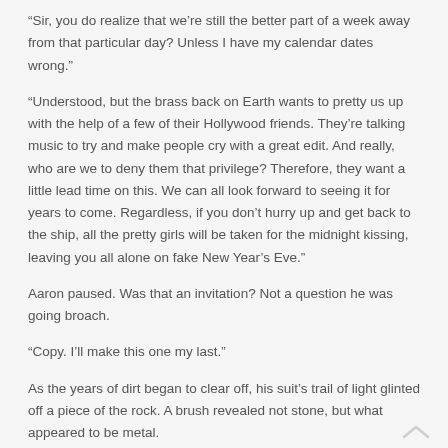“Sir, you do realize that we’re still the better part of a week away from that particular day? Unless I have my calendar dates wrong.”
“Understood, but the brass back on Earth wants to pretty us up with the help of a few of their Hollywood friends. They’re talking music to try and make people cry with a great edit. And really, who are we to deny them that privilege? Therefore, they want a little lead time on this. We can all look forward to seeing it for years to come. Regardless, if you don’t hurry up and get back to the ship, all the pretty girls will be taken for the midnight kissing, leaving you all alone on fake New Year’s Eve.”
Aaron paused. Was that an invitation? Not a question he was going broach.
“Copy. I’ll make this one my last.”
As the years of dirt began to clear off, his suit’s trail of light glinted off a piece of the rock. A brush revealed not stone, but what appeared to be metal.